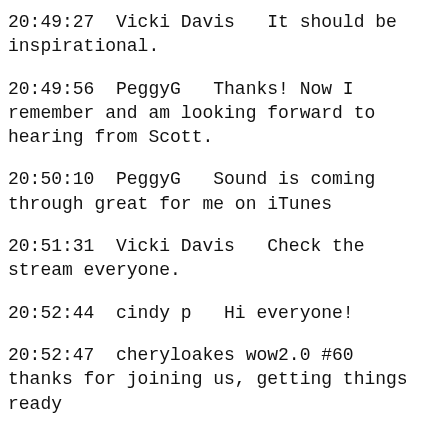20:49:27  Vicki Davis   It should be inspirational.
20:49:56  PeggyG   Thanks! Now I remember and am looking forward to hearing from Scott.
20:50:10  PeggyG   Sound is coming through great for me on iTunes
20:51:31  Vicki Davis   Check the stream everyone.
20:52:44  cindy p   Hi everyone!
20:52:47  cheryloakes wow2.0 #60   thanks for joining us, getting things ready